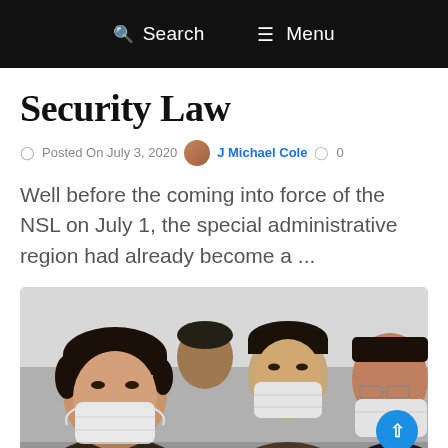Search  Menu
Security Law
Posted On July 3, 2020   J Michael Cole   0
Well before the coming into force of the NSL on July 1, the special administrative region had already become a ...
[Figure (photo): People wearing face masks, three individuals visible in foreground and background]